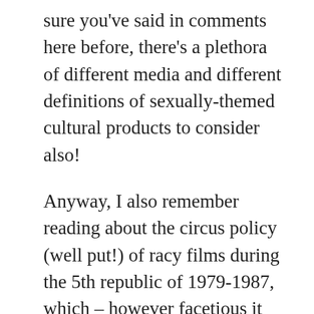sure you've said in comments here before, there's a plethora of different media and different definitions of sexually-themed cultural products to consider also!
Anyway, I also remember reading about the circus policy (well put!) of racy films during the 5th republic of 1979-1987, which – however facetious it sounds – is going to be interesting to study! I'll have get back to you about it